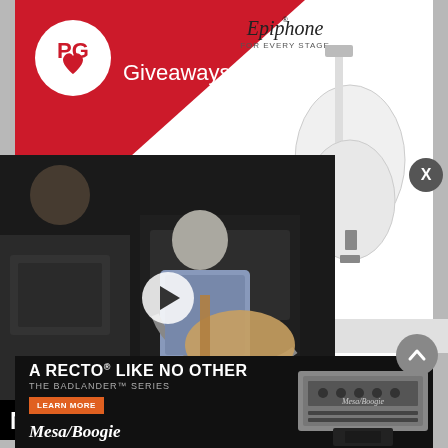[Figure (photo): PG Giveaways Epiphone promotional banner showing white Matt Heafy Les Paul guitar with red triangle design. Text reads: You could WIN this Matt Heafy Les Paul Custom...]
[Figure (screenshot): Video thumbnail of person playing guitar in a room with amplifiers, with play button overlay]
Nu-X Mighty Plug Pro Demo
Sponsored                                      2, 2022
[Figure (photo): Mesa/Boogie advertisement: A RECTO LIKE NO OTHER - THE BADLANDER SERIES - LEARN MORE - MESA/BOOGIE, showing amp head on right side]